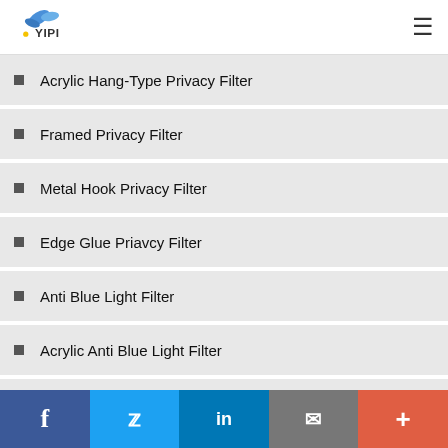YIPI logo and navigation menu
Acrylic Hang-Type Privacy Filter
Framed Privacy Filter
Metal Hook Privacy Filter
Edge Glue Priavcy Filter
Anti Blue Light Filter
Acrylic Anti Blue Light Filter
Paperlike Screen Protector
Nano Glass Screen Protector (partial)
Social share bar: Facebook, Twitter, LinkedIn, Email, More